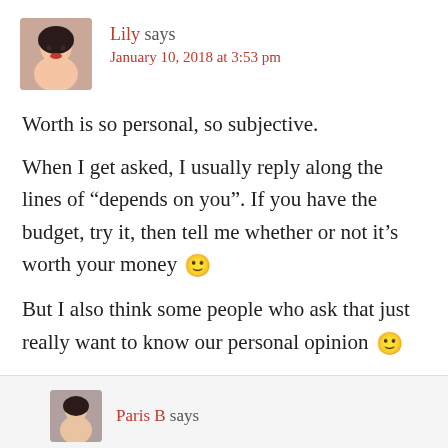[Figure (photo): Avatar photo of Lily, a woman with dark hair and red lipstick]
Lily says
January 10, 2018 at 3:53 pm
Worth is so personal, so subjective.
When I get asked, I usually reply along the lines of “depends on you”. If you have the budget, try it, then tell me whether or not it’s worth your money 🙂
But I also think some people who ask that just really want to know our personal opinion 🙂
Reply
[Figure (photo): Avatar photo of Paris B]
Paris B says